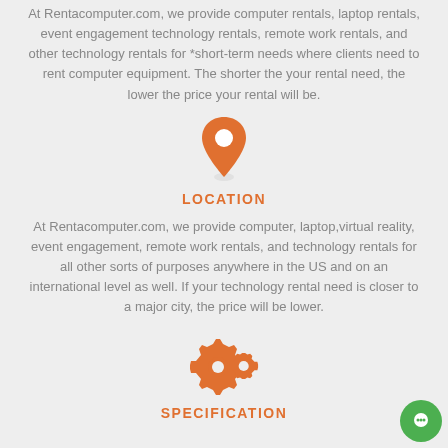At Rentacomputer.com, we provide computer rentals, laptop rentals, event engagement technology rentals, remote work rentals, and other technology rentals for *short-term needs where clients need to rent computer equipment. The shorter the your rental need, the lower the price your rental will be.
[Figure (illustration): Orange map location pin icon]
LOCATION
At Rentacomputer.com, we provide computer, laptop,virtual reality, event engagement, remote work rentals, and technology rentals for all other sorts of purposes anywhere in the US and on an international level as well. If your technology rental need is closer to a major city, the price will be lower.
[Figure (illustration): Orange gear/settings icons (two overlapping cogs)]
SPECIFICATION